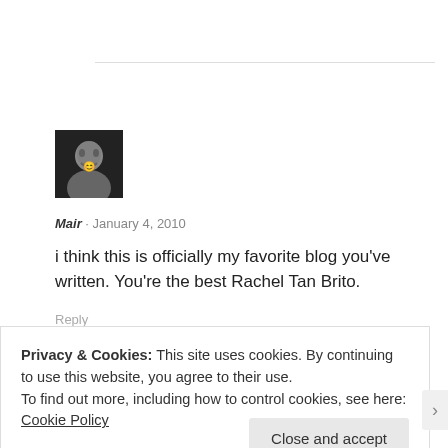[Figure (photo): Black and white profile photo of a person smiling]
Mair · January 4, 2010
i think this is officially my favorite blog you've written. You're the best Rachel Tan Brito.
Reply
Privacy & Cookies: This site uses cookies. By continuing to use this website, you agree to their use.
To find out more, including how to control cookies, see here: Cookie Policy
Close and accept